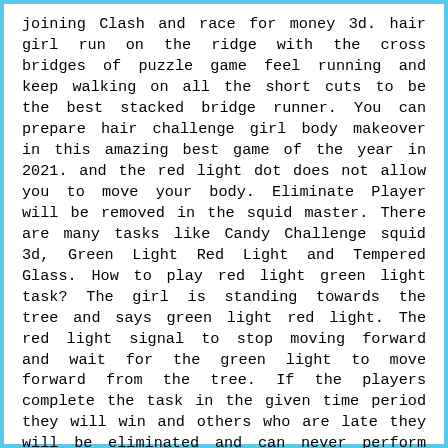joining Clash and race for money 3d. hair girl run on the ridge with the cross bridges of puzzle game feel running and keep walking on all the short cuts to be the best stacked bridge runner. You can prepare hair challenge girl body makeover in this amazing best game of the year in 2021. and the red light dot does not allow you to move your body. Eliminate Player will be removed in the squid master. There are many tasks like Candy Challenge squid 3d, Green Light Red Light and Tempered Glass. How to play red light green light task? The girl is standing towards the tree and says green light red light. The red light signal to stop moving forward and wait for the green light to move forward from the tree. If the players complete the task in the given time period they will win and others who are late they will be eliminated and can never perform another challenge like hair challenge and 3d rich run. The second task for Candy Challenge Squid 3d. This task also has its time, just your candy and a pin. Use the pin to give a candy a